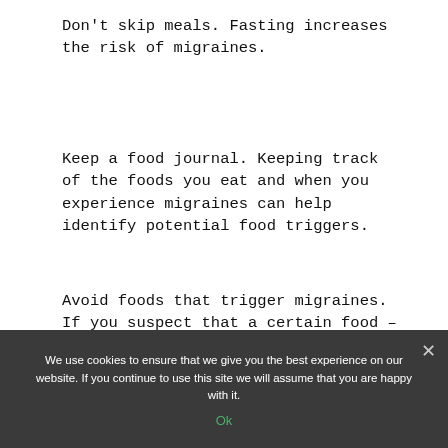Don't skip meals. Fasting increases the risk of migraines.
Keep a food journal. Keeping track of the foods you eat and when you experience migraines can help identify potential food triggers.
Avoid foods that trigger migraines. If you suspect that a certain food – such as aged cheese, chocolate, caffeine or alcohol – is triggering your migraines, eliminate it from your diet to see what
We use cookies to ensure that we give you the best experience on our website. If you continue to use this site we will assume that you are happy with it.
Ok